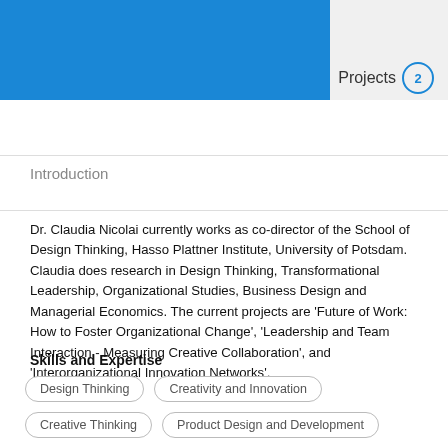scientific community.
Join for free
Log in
Projects 2
Introduction
Dr. Claudia Nicolai currently works as co-director of the School of Design Thinking, Hasso Plattner Institute, University of Potsdam. Claudia does research in Design Thinking, Transformational Leadership, Organizational Studies, Business Design and Managerial Economics. The current projects are 'Future of Work: How to Foster Organizational Change', 'Leadership and Team Interaction - Measuring Creative Collaboration', and 'Interorganizational Innovation Networks'.
Skills and Expertise
Design Thinking
Creativity and Innovation
Creative Thinking
Product Design and Development